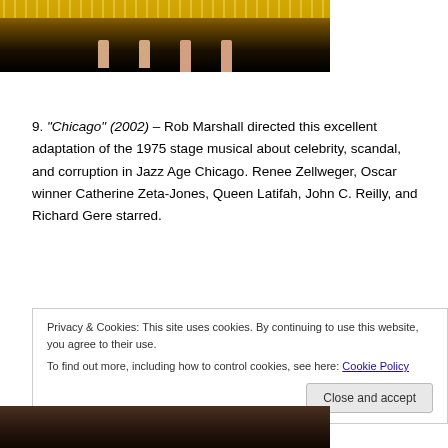[Figure (photo): Stage photo showing performers' legs on a lit stage with glittering background]
9. "Chicago" (2002) – Rob Marshall directed this excellent adaptation of the 1975 stage musical about celebrity, scandal, and corruption in Jazz Age Chicago. Renee Zellweger, Oscar winner Catherine Zeta-Jones, Queen Latifah, John C. Reilly, and Richard Gere starred.
Privacy & Cookies: This site uses cookies. By continuing to use this website, you agree to their use.
To find out more, including how to control cookies, see here: Cookie Policy
[Figure (photo): Partial photo at bottom of page, dark tones]